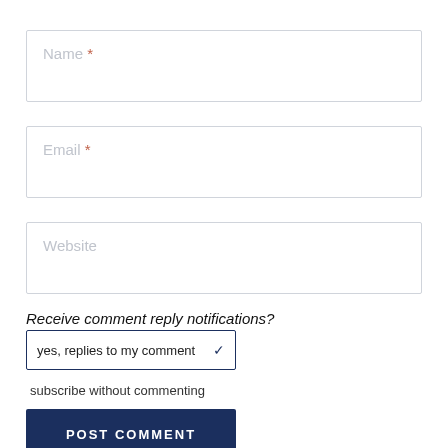Name *
Email *
Website
Receive comment reply notifications?
yes, replies to my comment ✓
subscribe without commenting
POST COMMENT